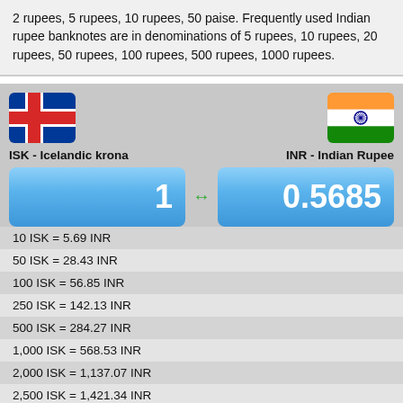2 rupees, 5 rupees, 10 rupees, 50 paise. Frequently used Indian rupee banknotes are in denominations of 5 rupees, 10 rupees, 20 rupees, 50 rupees, 100 rupees, 500 rupees, 1000 rupees.
[Figure (infographic): Currency converter widget showing ISK (Icelandic krona) to INR (Indian Rupee) with flags, exchange rate 1 ISK = 0.5685 INR, and a table of conversions]
| Conversion |
| --- |
| 10 ISK = 5.69 INR |
| 50 ISK = 28.43 INR |
| 100 ISK = 56.85 INR |
| 250 ISK = 142.13 INR |
| 500 ISK = 284.27 INR |
| 1,000 ISK = 568.53 INR |
| 2,000 ISK = 1,137.07 INR |
| 2,500 ISK = 1,421.34 INR |
| 5,000 ISK = 2,842.67 INR |
| 10,000 ISK = 5,685.35 INR |
| 20,000 ISK = 11,370.69 INR |
| 50,000 ISK = 28,426.73 INR |